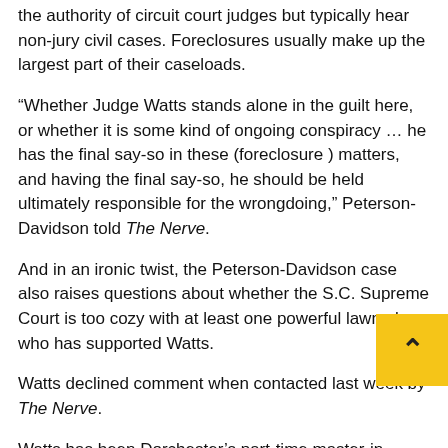the authority of circuit court judges but typically hear non-jury civil cases. Foreclosures usually make up the largest part of their caseloads.
“Whether Judge Watts stands alone in the guilt here, or whether it is some kind of ongoing conspiracy … he has the final say-so in these (foreclosure ) matters, and having the final say-so, he should be held ultimately responsible for the wrongdoing,” Peterson-Davidson told The Nerve.
And in an ironic twist, the Peterson-Davidson case also raises questions about whether the S.C. Supreme Court is too cozy with at least one powerful lawmaker who has supported Watts.
Watts declined comment when contacted last week by The Nerve.
Watts has been Dorchester’s part-time master-in-equity since 1994; he also is a private practice attorney in Summervi… annual salary as a part-time judge is $67,821, according… county records.